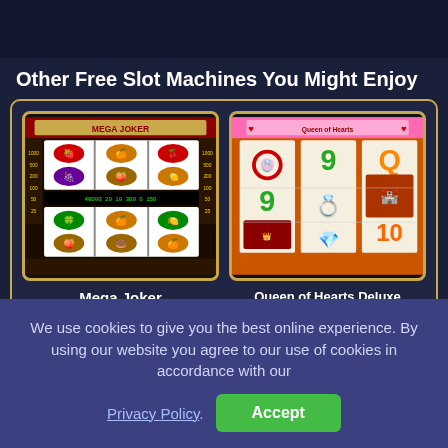Other Free Slot Machines You Might Enjoy
[Figure (screenshot): Mega Joker slot machine game screenshot showing fruit symbols on reels]
Mega Joker
[Figure (illustration): Star rating: 4 out of 5 stars for Mega Joker]
[Figure (screenshot): Queen of Hearts Deluxe slot machine game screenshot showing card symbols, rings, and numbers on reels]
Queen of Hearts Deluxe
[Figure (illustration): Star rating: 4 out of 5 stars for Queen of Hearts Deluxe]
We use cookies to give you the best online experience. By using our website you agree to our use of cookies in accordance with our Privacy Policy.
Accept